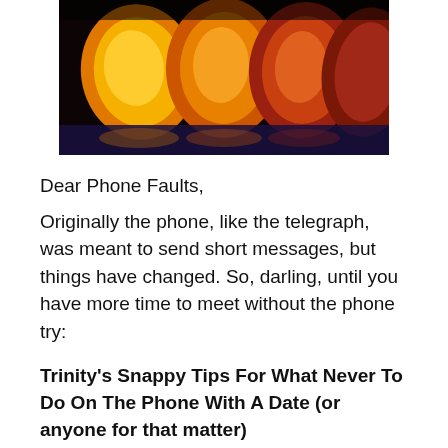[Figure (photo): Sliced peaches arranged in a row against a dark background, showing orange and red flesh with juice reflections on a glossy surface]
Dear Phone Faults,
Originally the phone, like the telegraph, was meant to send short messages, but things have changed. So, darling, until you have more time to meet without the phone try:
Trinity's Snappy Tips For What Never To Do On The Phone With A Date (or anyone for that matter)
1. Never call if you have nothing to say.